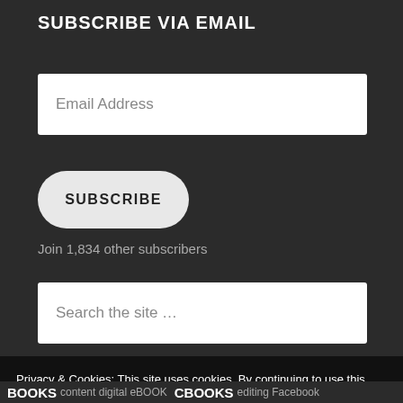SUBSCRIBE VIA EMAIL
Email Address
SUBSCRIBE
Join 1,834 other subscribers
Search the site ...
Privacy & Cookies: This site uses cookies. By continuing to use this website, you agree to their use.
To find out more, including how to control cookies, see here: Cookie Policy
Close and accept
BOOKS content digital eBOOK CBOOKS editing Facebook